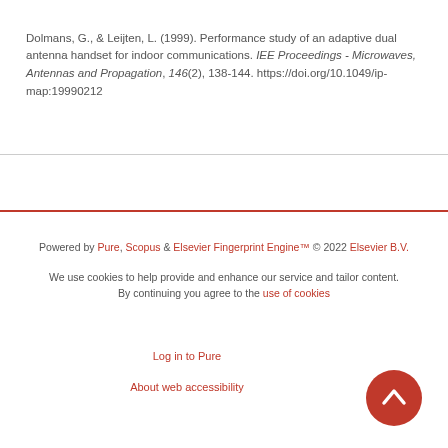Dolmans, G., & Leijten, L. (1999). Performance study of an adaptive dual antenna handset for indoor communications. IEE Proceedings - Microwaves, Antennas and Propagation, 146(2), 138-144. https://doi.org/10.1049/ip-map:19990212
Powered by Pure, Scopus & Elsevier Fingerprint Engine™ © 2022 Elsevier B.V.

We use cookies to help provide and enhance our service and tailor content. By continuing you agree to the use of cookies

Log in to Pure

About web accessibility